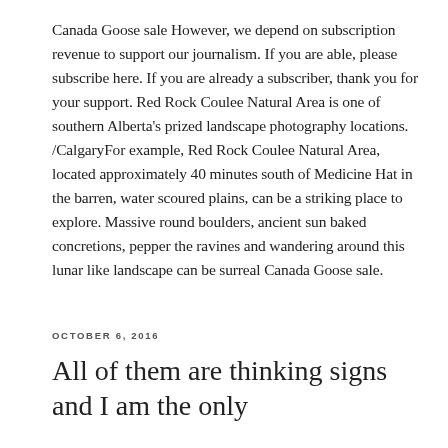Canada Goose sale However, we depend on subscription revenue to support our journalism. If you are able, please subscribe here. If you are already a subscriber, thank you for your support. Red Rock Coulee Natural Area is one of southern Alberta's prized landscape photography locations. /CalgaryFor example, Red Rock Coulee Natural Area, located approximately 40 minutes south of Medicine Hat in the barren, water scoured plains, can be a striking place to explore. Massive round boulders, ancient sun baked concretions, pepper the ravines and wandering around this lunar like landscape can be surreal Canada Goose sale.
OCTOBER 6, 2016
All of them are thinking signs and I am the only